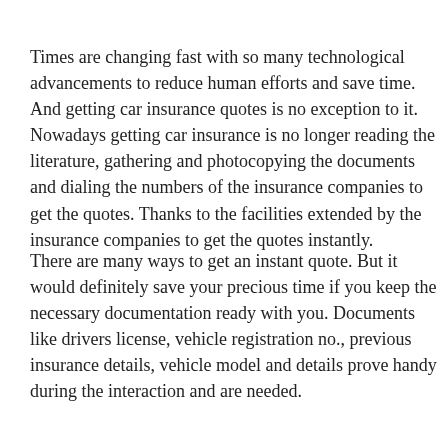Times are changing fast with so many technological advancements to reduce human efforts and save time. And getting car insurance quotes is no exception to it. Nowadays getting car insurance is no longer reading the literature, gathering and photocopying the documents and dialing the numbers of the insurance companies to get the quotes. Thanks to the facilities extended by the insurance companies to get the quotes instantly.
There are many ways to get an instant quote. But it would definitely save your precious time if you keep the necessary documentation ready with you. Documents like drivers license, vehicle registration no., previous insurance details, vehicle model and details prove handy during the interaction and are needed.